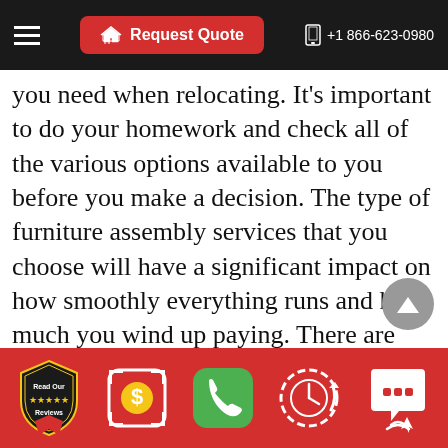Request Quote  +1 866-623-0980
you need when relocating. It’s important to do your homework and check all of the various options available to you before you make a decision. The type of furniture assembly services that you choose will have a significant impact on how smoothly everything runs and how much you wind up paying. There are many affordable options out there and you’ll likely be able to find a good quality company with a great reputation. All it takes is a little bit of effort to make sure you’re happy with your final
Read Our Reviews | $ | Phone | Clock | Chat